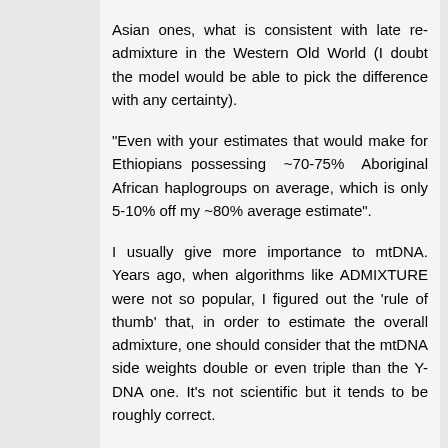Asian ones, what is consistent with late re-admixture in the Western Old World (I doubt the model would be able to pick the difference with any certainty).
"Even with your estimates that would make for Ethiopians possessing ~70-75% Aboriginal African haplogroups on average, which is only 5-10% off my ~80% average estimate".
I usually give more importance to mtDNA. Years ago, when algorithms like ADMIXTURE were not so popular, I figured out the 'rule of thumb' that, in order to estimate the overall admixture, one should consider that the mtDNA side weights double or even triple than the Y-DNA one. It's not scientific but it tends to be roughly correct.
"Most of those pre-70K populations could have very well died out"...
And replaced by what? Just because one